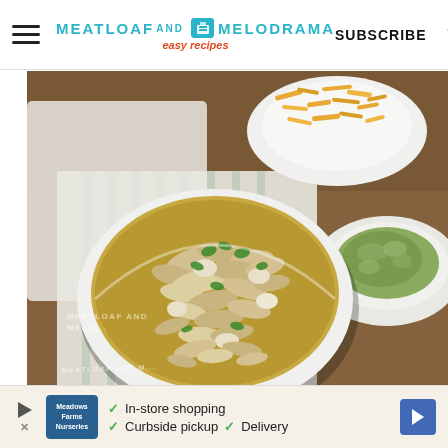MEATLOAF AND MELODRAMA easy recipes — SUBSCRIBE
[Figure (photo): Overhead view of a white bowl filled with white chicken chili — shredded chicken, white beans in golden broth, garnished with cilantro. Side bowls of shredded cheese and guacamole on a striped cloth and wooden surface.]
In-store shopping  Curbside pickup  Delivery